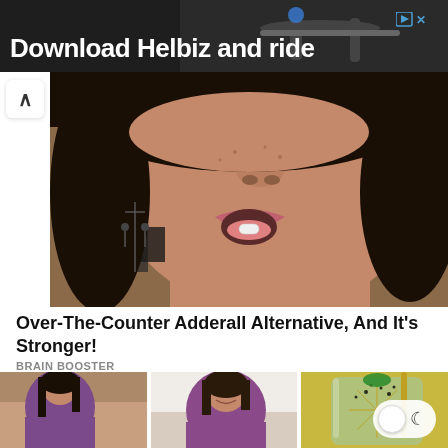[Figure (photo): Advertisement banner for Helbiz ride-sharing app with text 'Download Helbiz and ride' over a dark background with a scooter/handlebar image]
Download Helbiz and ride
[Figure (photo): Close-up photo of a young woman with curly dark hair, hoop earrings, placing a white pill on her tongue, mouth open]
Over-The-Counter Adderall Alternative, And It's Stronger!
BRAIN BOOSTER
[Figure (photo): Three thumbnail images side by side: an overweight woman in purple shirt, a smiling woman in purple shirt, and a glass of lemon water with chia seeds and a straw]